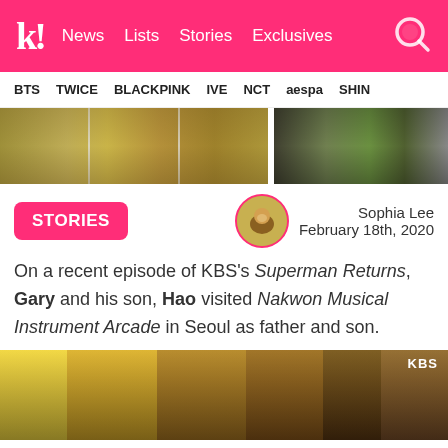k! News Lists Stories Exclusives
BTS TWICE BLACKPINK IVE NCT aespa SHINE
[Figure (photo): Horizontal strip of paparazzi-style photos showing people in winter coats outdoors]
STORIES
Sophia Lee
February 18th, 2020
On a recent episode of KBS's Superman Returns, Gary and his son, Hao visited Nakwon Musical Instrument Arcade in Seoul as father and son.
[Figure (photo): Inside a musical instrument arcade showing guitars hanging and a man in the store, KBS logo visible in top right]